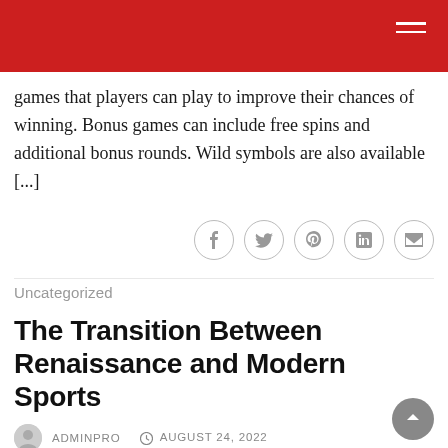games that players can play to improve their chances of winning. Bonus games can include free spins and additional bonus rounds. Wild symbols are also available [...]
ADMINPRO   AUGUST 24, 2022
Uncategorized
The Transition Between Renaissance and Modern Sports
There is a certain aesthetic element in sports, but this is no longer the main focus. Instead, the emphasis today is on quantitative achievement. One way to see the transition between Renaissance and modern sports is to look at the semantics of the